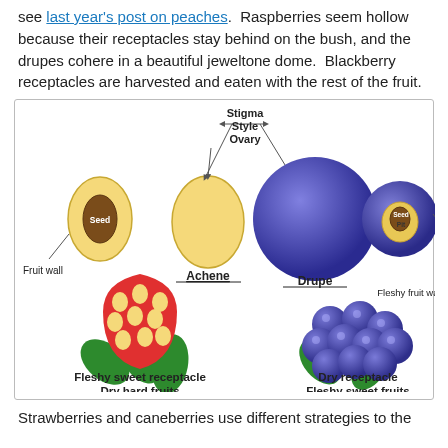see last year's post on peaches.  Raspberries seem hollow because their receptacles stay behind on the bush, and the drupes cohere in a beautiful jeweltone dome.  Blackberry receptacles are harvested and eaten with the rest of the fruit.
[Figure (illustration): Botanical diagram showing four fruit types: Achene (cross-section showing seed inside fruit wall), Drupe (round blue fruit with stigma/style/ovary labels, cross-section showing seed and pit inside fleshy fruit wall), Fleshy sweet receptacle with dry hard fruits (red strawberry with yellow achenes and green leaves), and Dry receptacle with fleshy sweet fruits (cluster of blue-purple drupes with green leaves).]
Strawberries and caneberries use different strategies to the